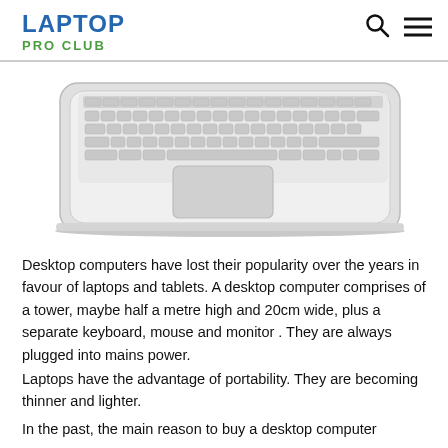LAPTOP PRO CLUB
[Figure (photo): Top-down view of a silver laptop showing the keyboard and trackpad area on a white background.]
Desktop computers have lost their popularity over the years in favour of laptops and tablets. A desktop computer comprises of a tower, maybe half a metre high and 20cm wide, plus a separate keyboard, mouse and monitor . They are always plugged into mains power.
Laptops have the advantage of portability. They are becoming thinner and lighter.
In the past, the main reason to buy a desktop computer